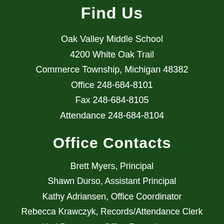Find Us
Oak Valley Middle School
4200 White Oak Trail
Commerce Township, Michigan 48382
Office 248-684-8101
Fax 248-684-8105
Attendance 248-684-8104
Office Contacts
Brett Myers, Principal
Shawn Durso, Assistant Principal
Kathy Adriansen, Office Coordinator
Rebecca Krawczyk, Records/Attendance Clerk
Kari Bessonen, Office Paraeducator